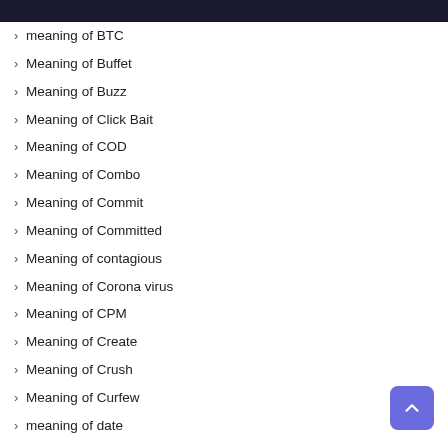› meaning of BTC
› Meaning of Buffet
› Meaning of Buzz
› Meaning of Click Bait
› Meaning of COD
› Meaning of Combo
› Meaning of Commit
› Meaning of Committed
› Meaning of contagious
› Meaning of Corona virus
› Meaning of CPM
› Meaning of Create
› Meaning of Crush
› Meaning of Curfew
› meaning of date